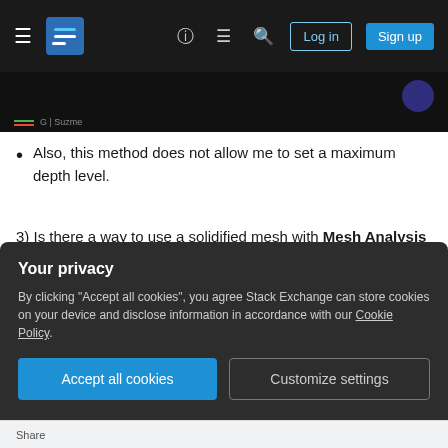Stack Exchange navigation bar with hamburger menu, logo, help, chat, search, Log in, Sign up buttons
[Figure (screenshot): Dark background image strip with a small label reading 'G | Suzme']
Also, this method does not allow me to set a maximum depth level.
3) Is there a way to use a solidified mesh with Mesh Analysis to check dynamically if adding/substracting of the outer shell is out of a thickness range and then mask the vertices to lock them in position?
Any ideas how to improve the methods I used? A
Your privacy
By clicking "Accept all cookies", you agree Stack Exchange can store cookies on your device and disclose information in accordance with our Cookie Policy.
Accept all cookies   Customize settings
Share